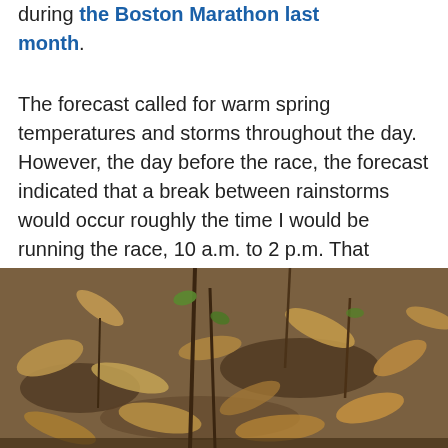during the Boston Marathon last month.
The forecast called for warm spring temperatures and storms throughout the day. However, the day before the race, the forecast indicated that a break between rainstorms would occur roughly the time I would be running the race, 10 a.m. to 2 p.m. That meant smooth sailing during the race but likely rain to deal with beforehand.
[Figure (photo): Close-up photograph of dead leaves and plant stems on the ground, with some green growth visible. Brown and tan dried leaves cover the forest floor with thin dark plant stems rising from them.]